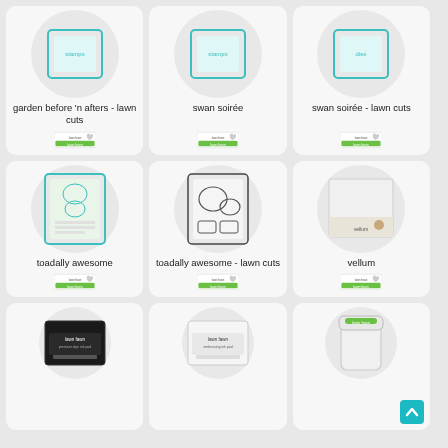[Figure (screenshot): Product grid showing crafting supplies - stamps, dies, vellum, and ink pads from Lawn Fawn brand]
garden before 'n afters - lawn cuts
swan soirée
swan soirée - lawn cuts
toadally awesome
toadally awesome - lawn cuts
vellum